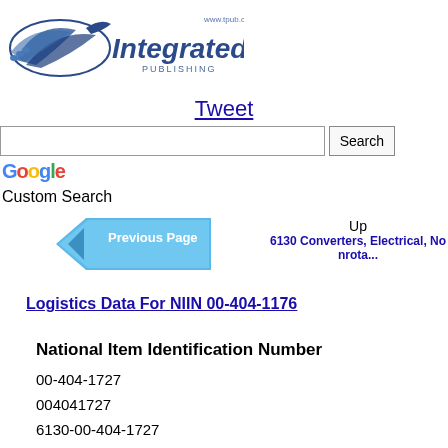[Figure (logo): Integrated Publishing logo with stylized bird/shield graphic and website URL www.tpub.com]
Tweet
[Figure (screenshot): Google Custom Search bar with Search button]
Google
Custom Search
[Figure (other): Previous Page arrow button (blue left-pointing arrow)]
Up
6130 Converters, Electrical, Nonrota...
Logistics Data For NIIN 00-404-1176
National Item Identification Number
00-404-1727
004041727
6130-00-404-1727
6130004041727